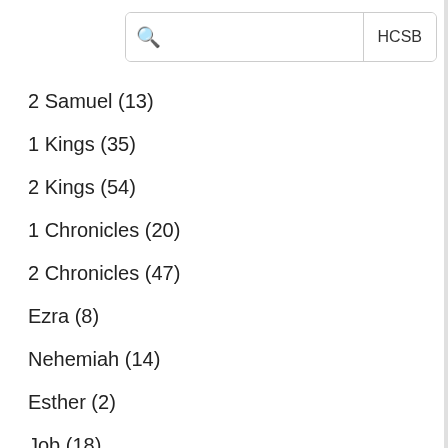[Figure (screenshot): Search bar with magnifying glass icon and HCSB button]
2 Samuel (13)
1 Kings (35)
2 Kings (54)
1 Chronicles (20)
2 Chronicles (47)
Ezra (8)
Nehemiah (14)
Esther (2)
Job (18)
Psalm (59)
Proverbs (11)
Ecclesiastes (3)
Song of Songs (1)
Isaiah (89)